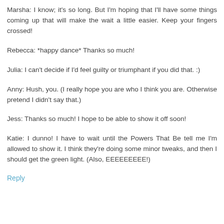Marsha: I know; it's so long. But I'm hoping that I'll have some things coming up that will make the wait a little easier. Keep your fingers crossed!
Rebecca: *happy dance* Thanks so much!
Julia: I can't decide if I'd feel guilty or triumphant if you did that. :)
Anny: Hush, you. (I really hope you are who I think you are. Otherwise pretend I didn't say that.)
Jess: Thanks so much! I hope to be able to show it off soon!
Katie: I dunno! I have to wait until the Powers That Be tell me I'm allowed to show it. I think they're doing some minor tweaks, and then I should get the green light. (Also, EEEEEEEEE!)
Reply